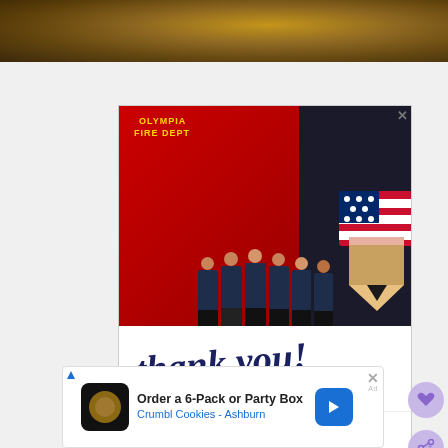[Figure (photo): Top portion of a page showing a brownish/gold surface at the top edge]
[Figure (photo): Advertisement from Operation Gratitude showing six firefighters standing in front of a fire department truck. Text reads 'thank you! SHOW THEM YOUR SUPPORT OPERATION GRATITUDE' with a patriotic pencil graphic featuring US flag colors.]
[Figure (photo): Bottom banner advertisement: 'Order a 6-Pack or Party Box' for 'Crumbl Cookies - Ashburn' with a cookie logo icon and blue navigation arrow.]